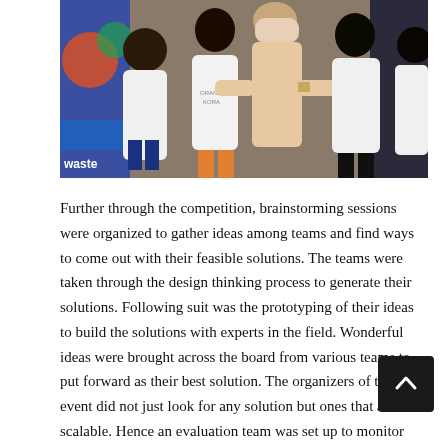[Figure (photo): Group photo of four young people in white t-shirts standing together in front of a colorful banner with text 'waste' partially visible on the left side.]
Further through the competition, brainstorming sessions were organized to gather ideas among teams and find ways to come out with their feasible solutions. The teams were taken through the design thinking process to generate their solutions. Following suit was the prototyping of their ideas to build the solutions with experts in the field. Wonderful ideas were brought across the board from various teams to put forward as their best solution. The organizers of the event did not just look for any solution but ones that are scalable. Hence an evaluation team was set up to monitor the outcomes of the teams in pitching process and make adequate corrections and contributions as possible.